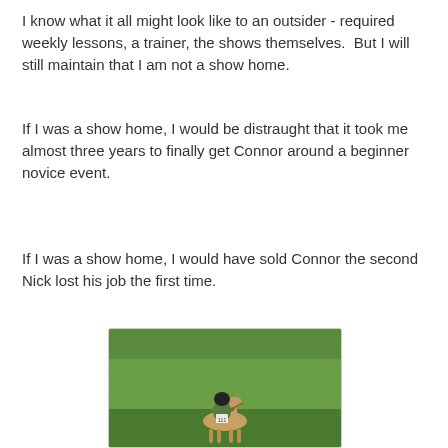I know what it all might look like to an outsider - required weekly lessons, a trainer, the shows themselves.  But I will still maintain that I am not a show home.
If I was a show home, I would be distraught that it took me almost three years to finally get Connor around a beginner novice event.
If I was a show home, I would have sold Connor the second Nick lost his job the first time.
[Figure (photo): A rider in green vest and black helmet riding a light-colored horse across a green grassy field, viewed from behind, with a competition number on their back.]